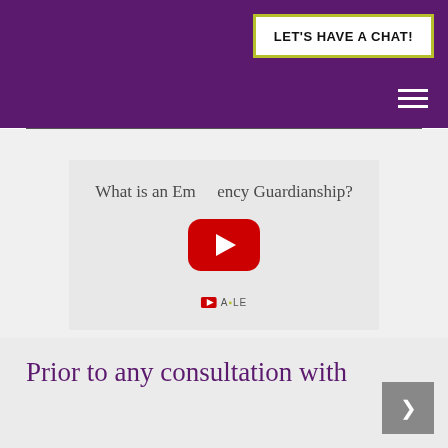LET'S HAVE A CHAT!
[Figure (screenshot): YouTube video embed thumbnail showing title 'What is an Emergency Guardianship?' with red YouTube play button and channel branding]
Prior to any consultation with